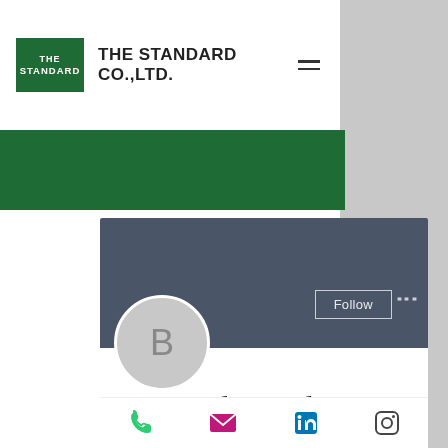[Figure (logo): The Standard Co., Ltd. logo — green rectangle with white text THE STANDARD, followed by company name and hamburger menu]
[Figure (screenshot): User profile card for 'Bitstarz vs, битстарз бездеп' showing avatar with letter B, Follow button, 0 Followers and 0 Following]
Bitstarz vs, битстарз бездеп
0 Followers • 0 Following
[Figure (infographic): Bottom navigation bar with phone, email, LinkedIn, and Instagram icons]